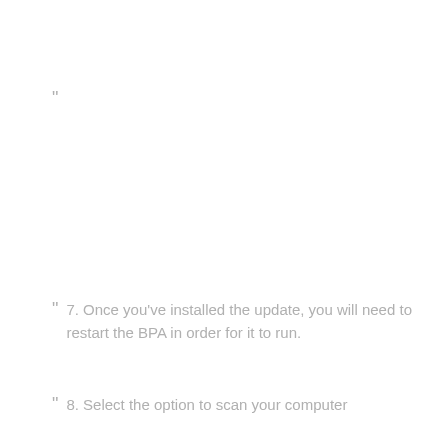"
7. Once you've installed the update, you will need to restart the BPA in order for it to run.
8. Select the option to scan your computer